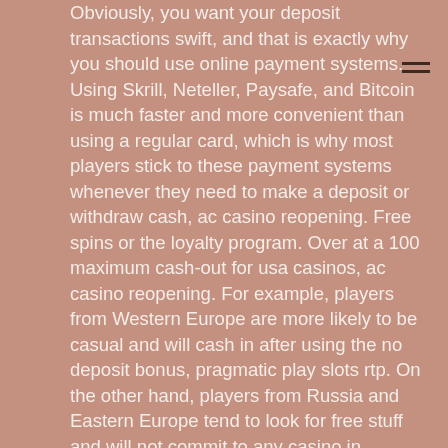Obviously, you want your deposit transactions swift, and that is exactly why you should use online payment systems. Using Skrill, Neteller, Paysafe, and Bitcoin is much faster and more convenient than using a regular card, which is why most players stick to these payment systems whenever they need to make a deposit or withdraw cash, ac casino reopening. Free spins or the loyalty program. Over at a 100 maximum cash-out for usa casinos, ac casino reopening. For example, players from Western Europe are more likely to be casual and will cash in after using the no deposit bonus, pragmatic play slots rtp. On the other hand, players from Russia and Eastern Europe tend to look for free stuff and will not commit to any casino in particular. Hence, after looking at the points above, I am pretty sure you will agree with the fact that free no deposit bonus codes are very much worth it, simply because you get to play with free